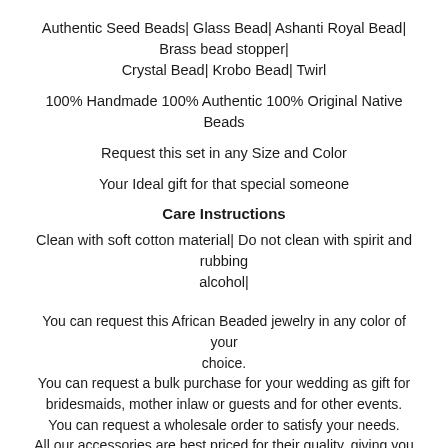Authentic Seed Beads| Glass Bead| Ashanti Royal Bead| Brass bead stopper| Crystal Bead| Krobo Bead| Twirl
100% Handmade 100% Authentic 100% Original Native Beads
Request this set in any Size and Color
Your Ideal gift for that special someone
Care Instructions
Clean with soft cotton material| Do not clean with spirit and rubbing alcohol|
You can request this African Beaded jewelry in any color of your choice.
You can request a bulk purchase for your wedding as gift for bridesmaids, mother inlaw or guests and for other events.
You can request a wholesale order to satisfy your needs.
All our accessories are best priced for their quality, giving you value for money.